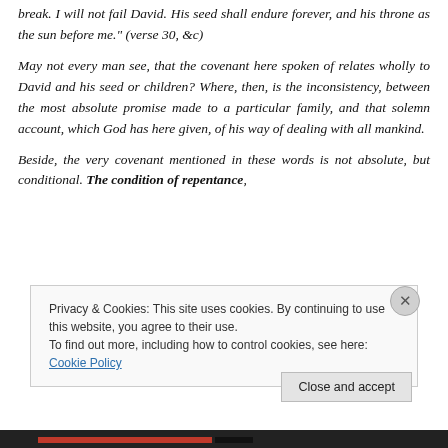break. I will not fail David. His seed shall endure forever, and his throne as the sun before me." (verse 30, &c)
May not every man see, that the covenant here spoken of relates wholly to David and his seed or children? Where, then, is the inconsistency, between the most absolute promise made to a particular family, and that solemn account, which God has here given, of his way of dealing with all mankind.
Beside, the very covenant mentioned in these words is not absolute, but conditional. The condition of repentance,
Privacy & Cookies: This site uses cookies. By continuing to use this website, you agree to their use.
To find out more, including how to control cookies, see here: Cookie Policy
Close and accept